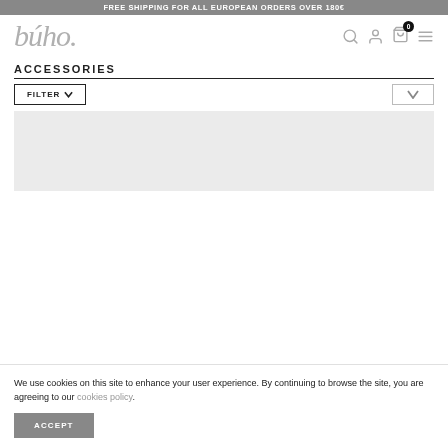FREE SHIPPING FOR ALL EUROPEAN ORDERS OVER 180€
[Figure (logo): búho. brand logo in grey serif italic font with navigation icons (search, account, cart with 0 badge, menu)]
ACCESSORIES
FILTER ∨ (filter button) and sort dropdown
[Figure (photo): Light grey product image placeholder area]
We use cookies on this site to enhance your user experience. By continuing to browse the site, you are agreeing to our cookies policy.
ACCEPT